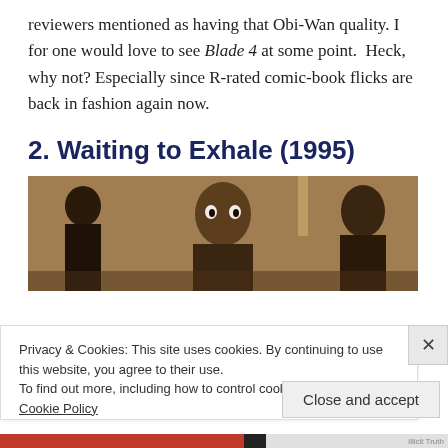reviewers mentioned as having that Obi-Wan quality. I for one would love to see Blade 4 at some point.  Heck, why not? Especially since R-rated comic-book flicks are back in fashion again now.
2. Waiting to Exhale (1995)
[Figure (photo): A movie still from Waiting to Exhale (1995) showing people in a room with warm lighting]
Privacy & Cookies: This site uses cookies. By continuing to use this website, you agree to their use.
To find out more, including how to control cookies, see here: Cookie Policy
Close and accept